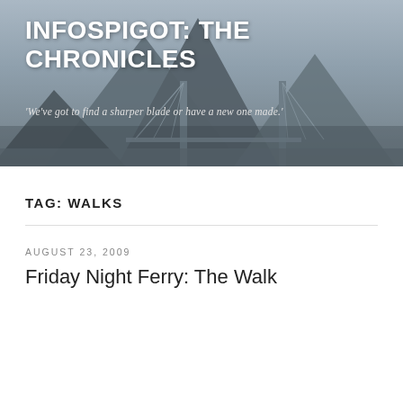[Figure (photo): Header image showing a mountain and bridge in the background with a blue-grey tone, serving as the website banner background.]
INFOSPIGOT: THE CHRONICLES
'We've got to find a sharper blade or have a new one made.'
TAG: WALKS
AUGUST 23, 2009
Friday Night Ferry: The Walk